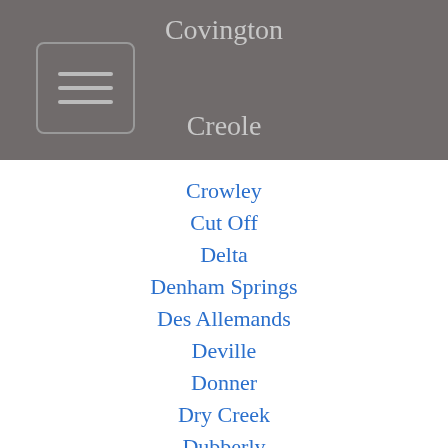Covington
Creole
Crowley
Cut Off
Delta
Denham Springs
Des Allemands
Deville
Donner
Dry Creek
Dubberly